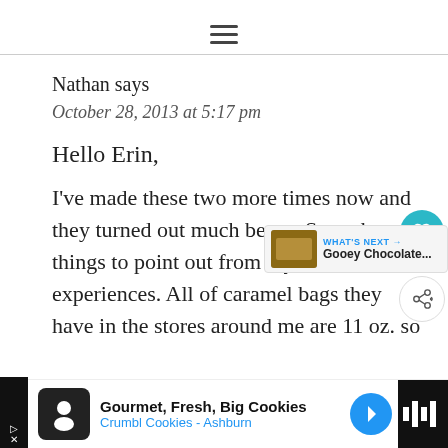≡
Nathan says
October 28, 2013 at 5:17 pm
Hello Erin,
I've made these two more times now and they turned out much better. Some key things to point out from my own experiences. All of caramel bags they have in the stores around me are 11 oz. so